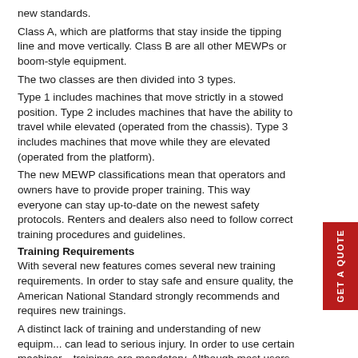new standards.
Class A, which are platforms that stay inside the tipping line and move vertically. Class B are all other MEWPs or boom-style equipment.
The two classes are then divided into 3 types.
Type 1 includes machines that move strictly in a stowed position. Type 2 includes machines that have the ability to travel while elevated (operated from the chassis). Type 3 includes machines that move while they are elevated (operated from the platform).
The new MEWP classifications mean that operators and owners have to provide proper training. This way everyone can stay up-to-date on the newest safety protocols. Renters and dealers also need to follow correct training procedures and guidelines.
Training Requirements
With several new features comes several new training requirements. In order to stay safe and ensure quality, the American National Standard strongly recommends and requires new trainings.
A distinct lack of training and understanding of new equipment can lead to serious injury. In order to use certain machinery trainings are mandatory. Although most users have comple...